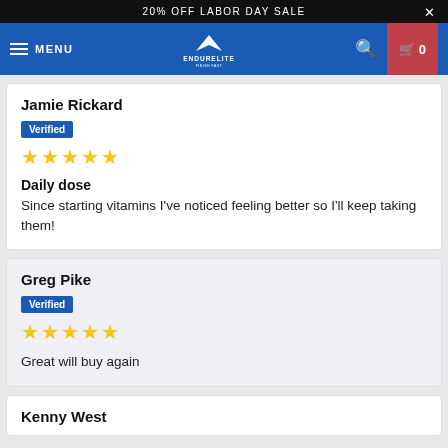20% OFF LABOR DAY SALE
[Figure (screenshot): EndureLite navigation bar with hamburger menu, logo, search icon, and cart icon showing 0 items]
Jamie Rickard
Verified
★★★★★
Daily dose
Since starting vitamins I've noticed feeling better so I'll keep taking them!
Greg Pike
Verified
★★★★★
Great will buy again
Kenny West